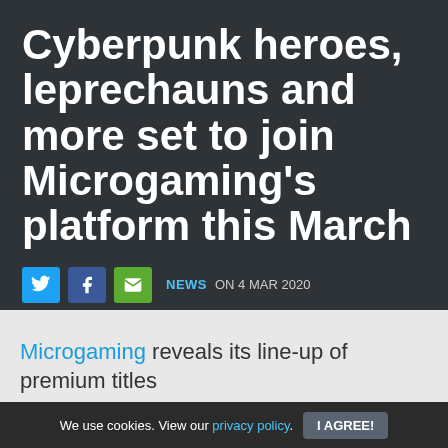Cyberpunk heroes, leprechauns and more set to join Microgaming's platform this March
NEWS ON 4 MAR 2020
Microgaming reveals its line-up of premium titles
We use cookies. View our privacy policy. I AGREE!